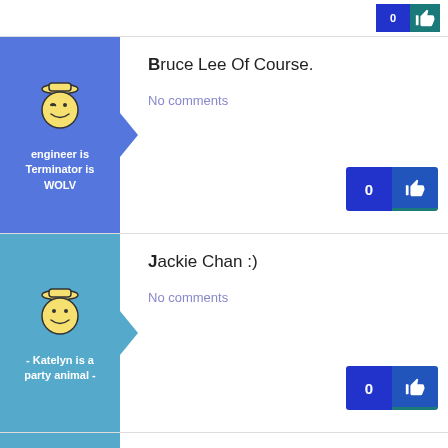[Figure (screenshot): Partial top row showing vote button (0 count, thumbs up icon) on white background]
[Figure (illustration): Blue avatar column with winking smiley face icon and username 'engineer is Terminator is WOLV' with arrow pointing right]
Bruce Lee Of Course.
No comments
[Figure (screenshot): Vote button showing 0 count and thumbs up icon]
[Figure (illustration): Cyan avatar column with winking smiley face icon and username '- Katelyn is a party animal -' with arrow pointing right]
Jackie Chan :)
No comments
[Figure (screenshot): Vote button showing 0 count and thumbs up icon]